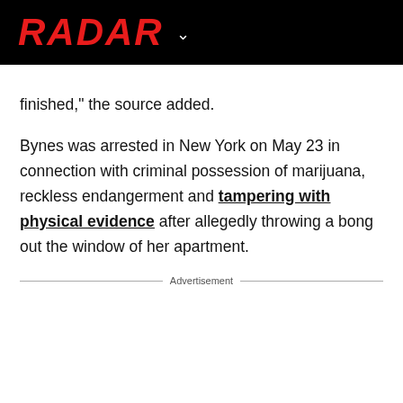RADAR
finished," the source added.
Bynes was arrested in New York on May 23 in connection with criminal possession of marijuana, reckless endangerment and tampering with physical evidence after allegedly throwing a bong out the window of her apartment.
Advertisement